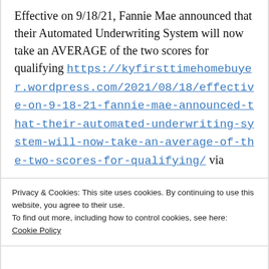Effective on 9/18/21, Fannie Mae announced that their Automated Underwriting System will now take an AVERAGE of the two scores for qualifying https://kyfirsttimehomebuyer.wordpress.com/2021/08/18/effective-on-9-18-21-fannie-mae-announced-that-their-automated-underwriting-system-will-now-take-an-average-of-the-two-scores-for-qualifying/ via
Privacy & Cookies: This site uses cookies. By continuing to use this website, you agree to their use.
To find out more, including how to control cookies, see here: Cookie Policy